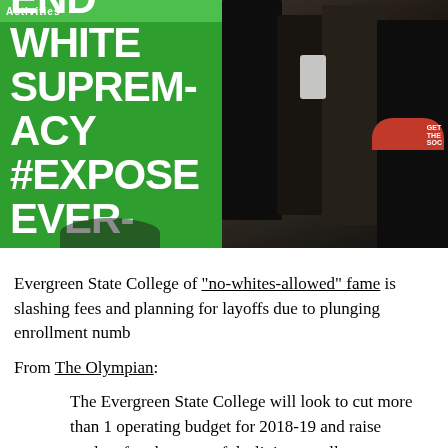[Figure (photo): Two-panel image: left panel shows a green protest sign reading 'END WHITE SUPREMACY #EXPOSE EVERGREEN' with a green banner at top; right panel shows a crowd of people at what appears to be a protest, with someone holding up a phone and a person wearing a red cap visible on the right.]
Evergreen State College of "no-whites-allowed" fame is slashing fees and planning for layoffs due to plunging enrollment numbers.
From The Olympian:
The Evergreen State College will look to cut more than 1 million from its operating budget for 2018-19 and raise student fees because of declining enrollment.
In a memo to the college's board of trustees, Evergreen